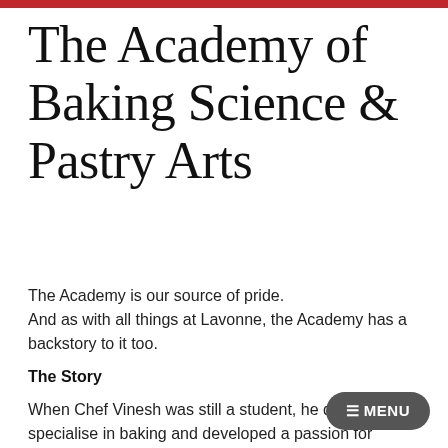The Academy of Baking Science & Pastry Arts
The Academy is our source of pride.
And as with all things at Lavonne, the Academy has a backstory to it too.
The Story
When Chef Vinesh was still a student, he decided to specialise in baking and developed a passion for